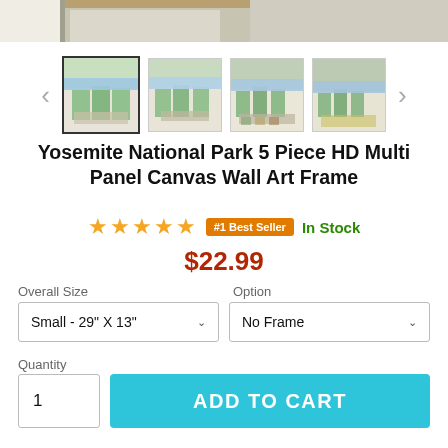[Figure (photo): Top portion of product room scene photo, partially cropped]
[Figure (photo): Row of 4 product thumbnail images showing Yosemite canvas wall art in various room settings, with left and right navigation arrows]
Yosemite National Park 5 Piece HD Multi Panel Canvas Wall Art Frame
★★★★★  #1 Best Seller  In Stock
$22.99
Overall Size
Option
Small - 29" X 13"
No Frame
Quantity
1
ADD TO CART
Fast Shipping to:  Virginia